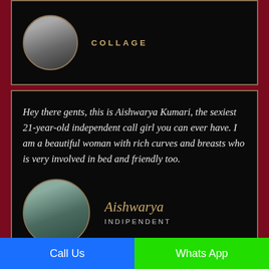[Figure (photo): Circular profile photo of a person in black outfit, shown above 'COLLAGE' label]
COLLAGE
Hey there gents, this is Aishwarya Kumari, the sexiest 21-year-old independent call girl you can ever have. I am a beautiful woman with rich curves and breasts who is very involved in bed and friendly too.
[Figure (photo): Circular profile photo of Aishwarya in teal outfit]
Aishwarya
INDIPENDENT
Hello lovers, I am Kavya, a 20-year-old sexy brunette and independent escort here for you. You will love
Call Us
Whats App